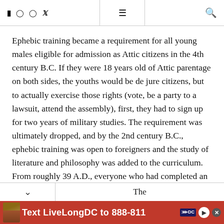Facebook Instagram WhatsApp Twitter | ☰ | 🔍
Ephebic training became a requirement for all young males eligible for admission as Attic citizens in the 4th century B.C. If they were 18 years old of Attic parentage on both sides, the youths would be de jure citizens, but to actually exercise those rights (vote, be a party to a lawsuit, attend the assembly), first, they had to sign up for two years of military studies. The requirement was ultimately dropped, and by the 2nd century B.C., ephebic training was open to foreigners and the study of literature and philosophy was added to the curriculum. From roughly 39 A.D., everyone who had completed an ephebic training was considered an Attic citizen.
The
[Figure (other): Red advertisement banner: Text LiveLongDC to 888-811 with DC government logo]